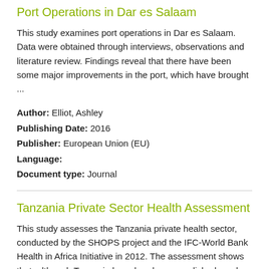Port Operations in Dar es Salaam
This study examines port operations in Dar es Salaam. Data were obtained through interviews, observations and literature review. Findings reveal that there have been some major improvements in the port, which have brought ...
Author: Elliot, Ashley
Publishing Date: 2016
Publisher: European Union (EU)
Language:
Document type: Journal
Tanzania Private Sector Health Assessment
This study assesses the Tanzania private health sector, conducted by the SHOPS project and the IFC-World Bank Health in Africa Initiative in 2012. The assessment shows that, although Tanzania has already accomplished much ...
Author: SHOPS Project
Publishing Date: 2013-02
Publisher: SHOPS Project